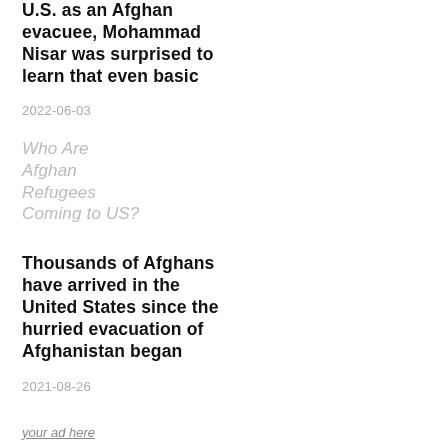U.S. as an Afghan evacuee, Mohammad Nisar was surprised to learn that even basic
2022-06-03
Who Are Afghan Refugees Coming to US?
Thousands of Afghans have arrived in the United States since the hurried evacuation of Afghanistan began
2021-08-26
your ad here